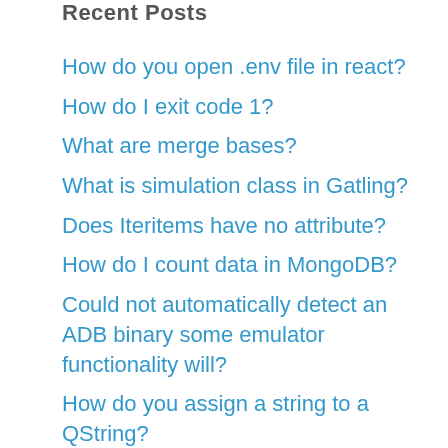Recent Posts
How do you open .env file in react?
How do I exit code 1?
What are merge bases?
What is simulation class in Gatling?
Does Iteritems have no attribute?
How do I count data in MongoDB?
Could not automatically detect an ADB binary some emulator functionality will?
How do you assign a string to a QString?
What is @NoRepositoryBean?
How do I fix unable to start the daemon process?
How do I uninstall bundler in Ruby?